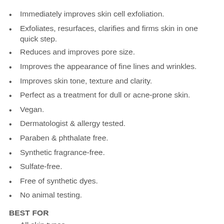Immediately improves skin cell exfoliation.
Exfoliates, resurfaces, clarifies and firms skin in one quick step.
Reduces and improves pore size.
Improves the appearance of fine lines and wrinkles.
Improves skin tone, texture and clarity.
Perfect as a treatment for dull or acne-prone skin.
Vegan.
Dermatologist & allergy tested.
Paraben & phthalate free.
Synthetic fragrance-free.
Sulfate-free.
Free of synthetic dyes.
No animal testing.
BEST FOR
All skin types.